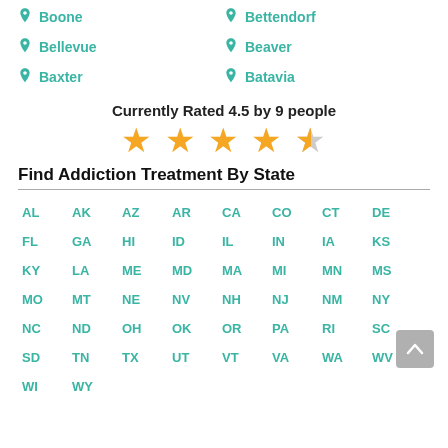Boone
Bettendorf
Bellevue
Beaver
Baxter
Batavia
Currently Rated 4.5 by 9 people
[Figure (other): 4.5 out of 5 stars rating display with 4 full gold stars and 1 half gold/grey star]
Find Addiction Treatment By State
AL AK AZ AR CA CO CT DE FL GA HI ID IL IN IA KS KY LA ME MD MA MI MN MS MO MT NE NV NH NJ NM NY NC ND OH OK OR PA RI SC SD TN TX UT VT VA WA WV WI WY